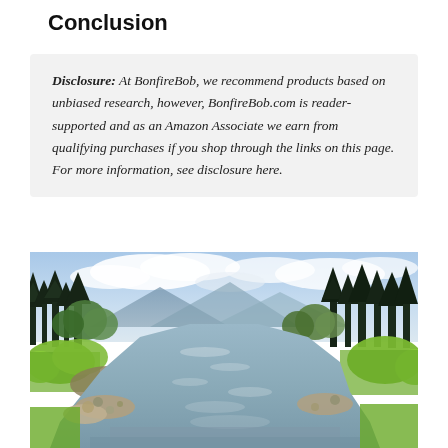Conclusion
Disclosure: At BonfireBob, we recommend products based on unbiased research, however, BonfireBob.com is reader-supported and as an Amazon Associate we earn from qualifying purchases if you shop through the links on this page. For more information, see disclosure here.
[Figure (photo): Scenic river flowing through a forested mountain landscape with conifer trees and deciduous trees lining both banks, rocky shores, and a cloudy blue sky with mountains in the background.]